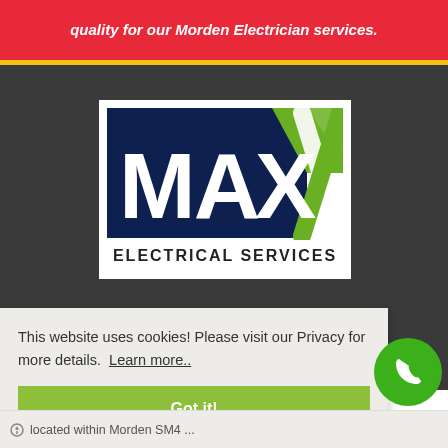quality for our Morden Electrician services.
[Figure (logo): MAX Electrical Services logo — navy blue background with white bold text 'MAX' and green geometric triangles, text 'ELECTRICAL SERVICES' below in dark letters on white background]
This website uses cookies! Please visit our Privacy for more details. Learn more..
Got it!
[Figure (other): Green circular phone call button with white telephone handset icon]
located within Morden SM4...